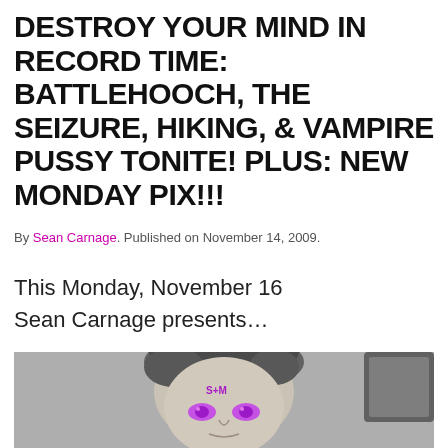DESTROY YOUR MIND IN RECORD TIME: BATTLEHOOCH, THE SEIZURE, HIKING, & VAMPIRE PUSSY TONITE! PLUS: NEW MONDAY PIX!!!
By Sean Carnage. Published on November 14, 2009.
This Monday, November 16
Sean Carnage presents…
[Figure (photo): Black and white halftone photo of a woman with purple glowing eyes and 'S+M' written on her forehead in purple text, looking directly at the camera.]